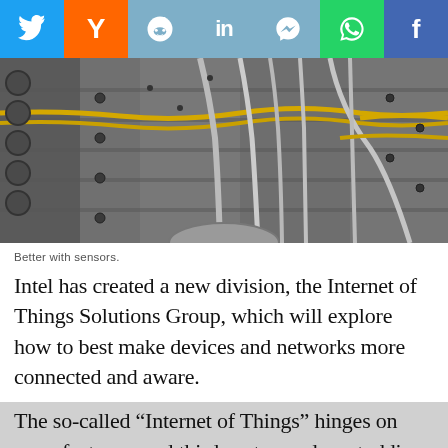[Figure (other): Social share button bar with Twitter, Hacker News (Y), Reddit, LinkedIn, Messenger, WhatsApp, and Facebook icons]
[Figure (photo): Close-up photograph of industrial machinery — aircraft engine or turbine interior showing metal pipes, tubes, mechanical components in silver and yellow]
Better with sensors.
Intel has created a new division, the Internet of Things Solutions Group, which will explore how to best make devices and networks more connected and aware.
The so-called “Internet of Things” hinges on manufacturers and third-party vendors studding as many products as possible—from small gizmos in production lines to aircraft engines—with sensors capable of streaming data to the cloud. Companies could analyze